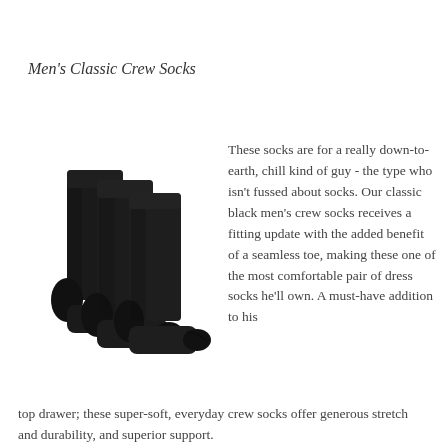Men's Classic Crew Socks
[Figure (photo): Three black men's classic crew socks displayed upright and overlapping on a white background]
These socks are for a really down-to-earth, chill kind of guy - the type who isn't fussed about socks. Our classic black men's crew socks receives a fitting update with the added benefit of a seamless toe, making these one of the most comfortable pair of dress socks he'll own. A must-have addition to his top drawer; these super-soft, everyday crew socks offer generous stretch and durability, and superior support.